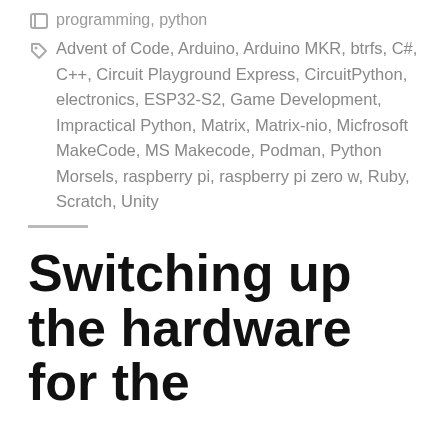programming, python
Advent of Code, Arduino, Arduino MKR, btrfs, C#, C++, Circuit Playground Express, CircuitPython, electronics, ESP32-S2, Game Development, Impractical Python, Matrix, Matrix-nio, Micfrosoft MakeCode, MS Makecode, Podman, Python Morsels, raspberry pi, raspberry pi zero w, Ruby, Scratch, Unity
Switching up the hardware for the